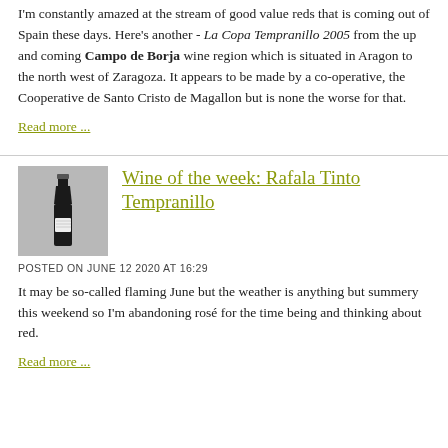I'm constantly amazed at the stream of good value reds that is coming out of Spain these days. Here's another - La Copa Tempranillo 2005 from the up and coming Campo de Borja wine region which is situated in Aragon to the north west of Zaragoza. It appears to be made by a co-operative, the Cooperative de Santo Cristo de Magallon but is none the worse for that.
Read more ...
[Figure (photo): Thumbnail photo of a dark wine bottle standing upright against a light grey background]
Wine of the week: Rafala Tinto Tempranillo
POSTED ON JUNE 12 2020 AT 16:29
It may be so-called flaming June but the weather is anything but summery this weekend so I'm abandoning rosé for the time being and thinking about red.
Read more ...